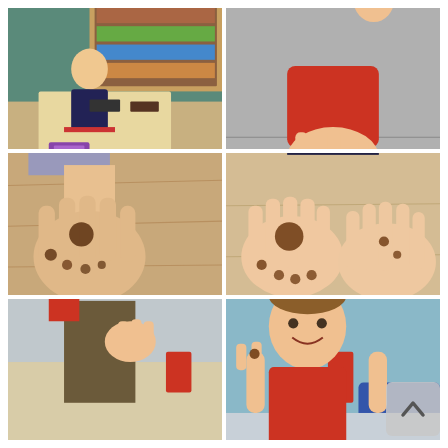[Figure (photo): Child sitting at a classroom table in a school with bookshelves in the background, pointing toward camera]
[Figure (photo): Close-up of a child's hand in red long sleeve showing a small brown coin or object in palm, over a grey surface with a pencil case]
[Figure (photo): Adult hand with brown chocolate or mud marks on palm and fingers, resting on a wooden table surface]
[Figure (photo): Two hands of a child placed on a wooden table showing brown chocolate or mud marks on fingers and palm]
[Figure (photo): Partial view of a child holding something, lower body visible in classroom setting]
[Figure (photo): Smiling child in red top holding up fingers with brown marks in a classroom]